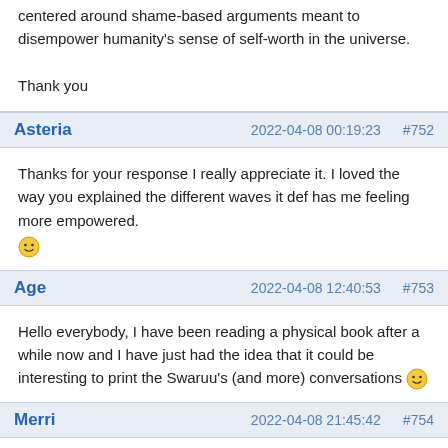centered around shame-based arguments meant to disempower humanity's sense of self-worth in the universe.

Thank you
Asteria | 2022-04-08 00:19:23 | #752
Thanks for your response I really appreciate it. I loved the way you explained the different waves it def has me feeling more empowered. 🙂
Age | 2022-04-08 12:40:53 | #753
Hello everybody, I have been reading a physical book after a while now and I have just had the idea that it could be interesting to print the Swaruu's (and more) conversations 🙂
Merri | 2022-04-08 21:45:42 | #754